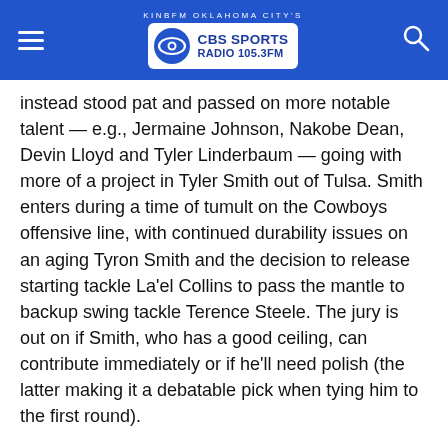KINBFM OKLAHOMA CITY'S CBS SPORTS RADIO 105.3FM
instead stood pat and passed on more notable talent — e.g., Jermaine Johnson, Nakobe Dean, Devin Lloyd and Tyler Linderbaum — going with more of a project in Tyler Smith out of Tulsa. Smith enters during a time of tumult on the Cowboys offensive line, with continued durability issues on an aging Tyron Smith and the decision to release starting tackle La'el Collins to pass the mantle to backup swing tackle Terence Steele. The jury is out on if Smith, who has a good ceiling, can contribute immediately or if he'll need polish (the latter making it a debatable pick when tying him to the first round).
Keeping with their theme, the Cowboys again passed on bigger ticketed names and went with defensive end Sam Williams, the former Ole Miss talent who will presumably look to challenge Dorance Armstrong and Dante Fowler for the right to replace Randy Gregory opposite DeMarcus